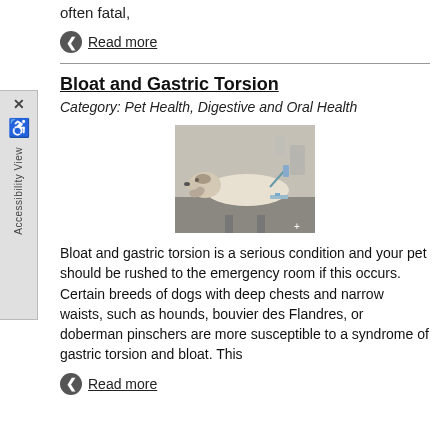often fatal,
Read more
Bloat and Gastric Torsion
Category: Pet Health, Digestive and Oral Health
[Figure (photo): A dog lying on a veterinary examination table, appearing ill or sedated, with medical equipment in the background.]
Bloat and gastric torsion is a serious condition and your pet should be rushed to the emergency room if this occurs. Certain breeds of dogs with deep chests and narrow waists, such as hounds, bouvier des Flandres, or doberman pinschers are more susceptible to a syndrome of gastric torsion and bloat. This
Read more